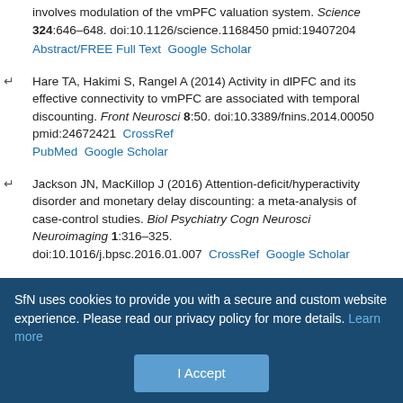involves modulation of the vmPFC valuation system. Science 324:646–648. doi:10.1126/science.1168450 pmid:19407204
Abstract/FREE Full Text   Google Scholar
Hare TA, Hakimi S, Rangel A (2014) Activity in dlPFC and its effective connectivity to vmPFC are associated with temporal discounting. Front Neurosci 8:50. doi:10.3389/fnins.2014.00050 pmid:24672421  CrossRef  PubMed  Google Scholar
Jackson JN, MacKillop J (2016) Attention-deficit/hyperactivity disorder and monetary delay discounting: a meta-analysis of case-control studies. Biol Psychiatry Cogn Neurosci Neuroimaging 1:316–325. doi:10.1016/j.bpsc.2016.01.007  CrossRef  Google Scholar
Johnson MW, Bickel WK (2002) Within-subject comparison of real and hypothetical money rewards in delay discounting. J Exp Anal Behav 77:129–146. doi:10.1901/jeab.2002.77-129 pmid:11936247  CrossRef
SfN uses cookies to provide you with a secure and custom website experience. Please read our privacy policy for more details. Learn more
I Accept